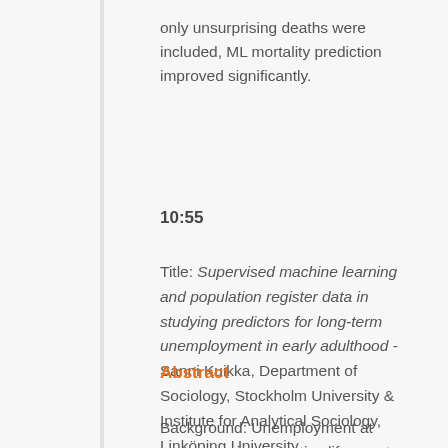only unsurprising deaths were included, ML mortality prediction improved significantly.
10:55
Title: Supervised machine learning and population register data in studying predictors for long-term unemployment in early adulthood - Sanni Kuikka, Department of Sociology, Stockholm University & Institute for Analytical Sociology, Linköping University.
Abstract
Background: Unemployment at young age is a negative life event that has been found to